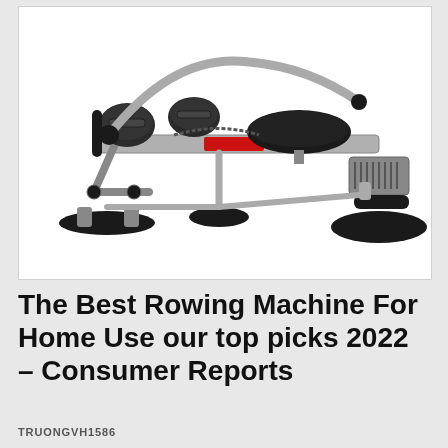[Figure (photo): A rowing machine (exercise rower) with a silver metal frame, black seat, foot pedals with straps, and a red accent stripe along the rail. The machine is shown at an angle on a white background. The brand name appears partially visible in red lettering on the frame.]
The Best Rowing Machine For Home Use our top picks 2022 – Consumer Reports
TRUONGVH1586